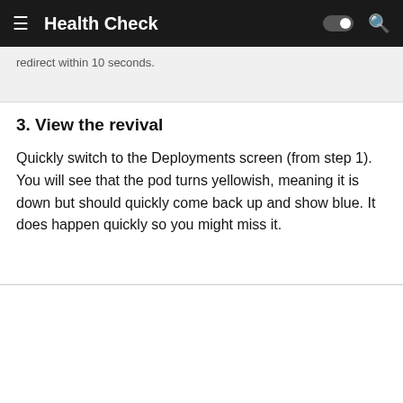Health Check
redirect within 10 seconds.
3. View the revival
Quickly switch to the Deployments screen (from step 1). You will see that the pod turns yellowish, meaning it is down but should quickly come back up and show blue. It does happen quickly so you might miss it.
[Figure (screenshot): OpenShift web console screenshot showing a left navigation sidebar with Home, Operators, Workloads (expanded with Pods, Deployments highlighted, DeploymentConfigs) and a right panel showing ostoy-frontend deployment details with breadcrumb Deployments > Deployment details, tabs for Details, Metrics, YAML, ReplicaSets, and a partial donut chart.]